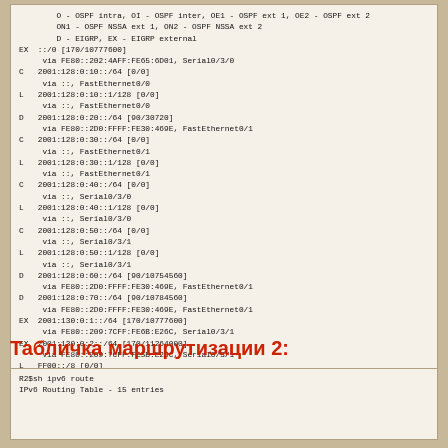O - OSPF intra, OI - OSPF inter, OE1 - OSPF ext 1, OE2 - OSPF ext 2
        ON1 - OSPF NSSA ext 1, ON2 - OSPF NSSA ext 2
        D - EIGRP, EX - EIGRP external
EX  ::/0 [170/10777600]
     via FE80::202:4AFF:FE65:6D01, Serial0/3/0
C   2001:128:0:10::/64 [0/0]
     via ::, FastEthernet0/0
L   2001:128:0:10::1/128 [0/0]
     via ::, FastEthernet0/0
D   2001:128:0:20::/64 [90/30720]
     via FE80::2D0:FFFF:FE30:469E, FastEthernet0/1
C   2001:128:0:30::/64 [0/0]
     via ::, FastEthernet0/1
L   2001:128:0:30::1/128 [0/0]
     via ::, FastEthernet0/1
C   2001:128:0:40::/64 [0/0]
     via ::, Serial0/3/0
L   2001:128:0:40::1/128 [0/0]
     via ::, Serial0/3/0
C   2001:128:0:50::/64 [0/0]
     via ::, Serial0/3/1
L   2001:128:0:50::1/128 [0/0]
     via ::, Serial0/3/1
D   2001:128:0:60::/64 [90/10754560]
     via FE80::2D0:FFFF:FE30:469E, FastEthernet0/1
D   2001:128:0:70::/64 [90/10784560]
     via FE80::2D0:FFFF:FE30:469E, FastEthernet0/1
EX  2001:130:0:1::/64 [170/10777600]
     via FE80::209:7CFF:FE6B:E26C, Serial0/3/1
EX  2001:130:0:2::/64 [170/11264000]
     via FE80::209:7CFF:FE5B:E26C, Serial0/3/1
L   FF00::/8 [0/0]
     via ::, Null0
     .
Табличка маршрутизации 2:
R2$sh ipv6 route
IPv6 Routing Table - 15 entries